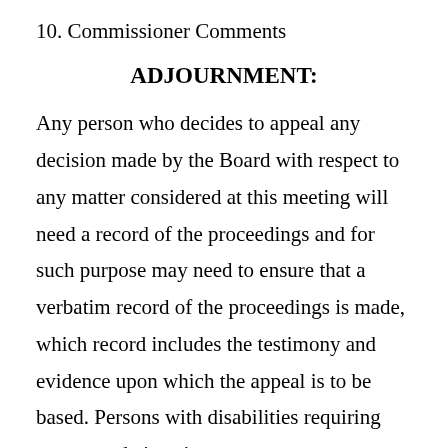10. Commissioner Comments
ADJOURNMENT:
Any person who decides to appeal any decision made by the Board with respect to any matter considered at this meeting will need a record of the proceedings and for such purpose may need to ensure that a verbatim record of the proceedings is made, which record includes the testimony and evidence upon which the appeal is to be based. Persons with disabilities requiring accommodations in